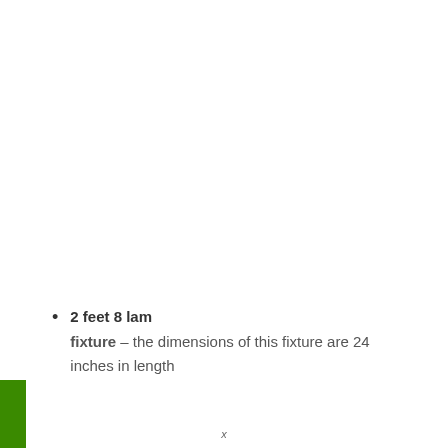2 feet 8 lam fixture – the dimensions of this fixture are 24 inches in length
x